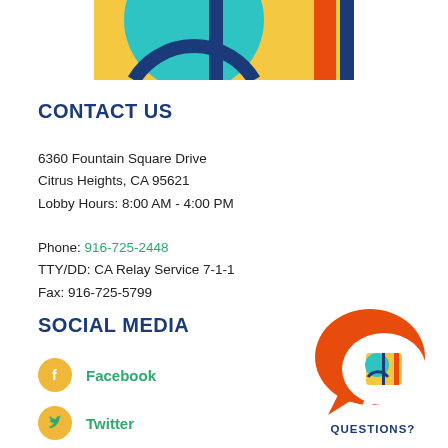[Figure (logo): Partial logo banner with teal circle, dark blue arc, orange bar on yellow/gold background — city or district logo cropped at top]
CONTACT US
6360 Fountain Square Drive
Citrus Heights, CA 95621
Lobby Hours: 8:00 AM - 4:00 PM

Phone: 916-725-2448
TTY/DD: CA Relay Service 7-1-1
Fax: 916-725-5799
SOCIAL MEDIA
Facebook
Twitter
[Figure (illustration): Orange speech bubble with white speech bubble inset containing a teal/orange logo, labeled QUESTIONS?]